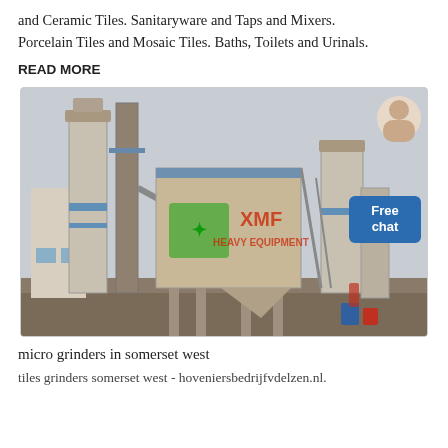and Ceramic Tiles. Sanitaryware and Taps and Mixers. Porcelain Tiles and Mosaic Tiles. Baths, Toilets and Urinals.
READ MORE
[Figure (photo): Industrial facility with large silos, conveyor structures, and processing equipment. A green and red XME company logo/sign is visible on the building. A 'Free chat' button overlay appears in the top right corner.]
micro grinders in somerset west
tiles grinders somerset west - hoveniersbedrijfvdelzen.nl.